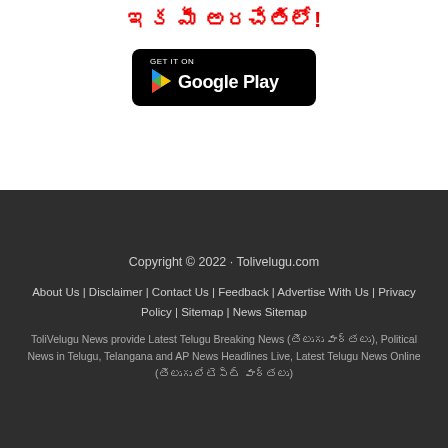ఇక మీ అరచేతిలో!
[Figure (logo): Google Play Store badge — black rounded rectangle with GET IT ON text above Google Play logo and name]
Copyright © 2022 · Tolivelugu.com
About Us | Disclaimer | Contact Us | Feedback | Advertise With Us | Privacy Policy | Sitemap | News Sitemap
ToliVelugu News provide Latest Telugu Breaking News (తెలుగు వార్తలు), Political News in Telugu, Telangana and AP News Headlines Live, Latest Telugu News Online (తెలుగు లేటెస్ట్ వార్తలు)